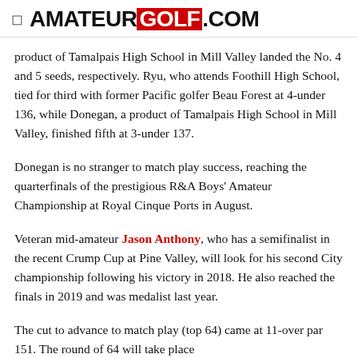☰  AMATEUR GOLF.COM
product of Tamalpais High School in Mill Valley landed the No. 4 and 5 seeds, respectively. Ryu, who attends Foothill High School, tied for third with former Pacific golfer Beau Forest at 4-under 136, while Donegan, a product of Tamalpais High School in Mill Valley, finished fifth at 3-under 137.
Donegan is no stranger to match play success, reaching the quarterfinals of the prestigious R&A Boys' Amateur Championship at Royal Cinque Ports in August.
Veteran mid-amateur Jason Anthony, who has a semifinalist in the recent Crump Cup at Pine Valley, will look for his second City championship following his victory in 2018. He also reached the finals in 2019 and was medalist last year.
The cut to advance to match play (top 64) came at 11-over par 151. The round of 64 will take place...